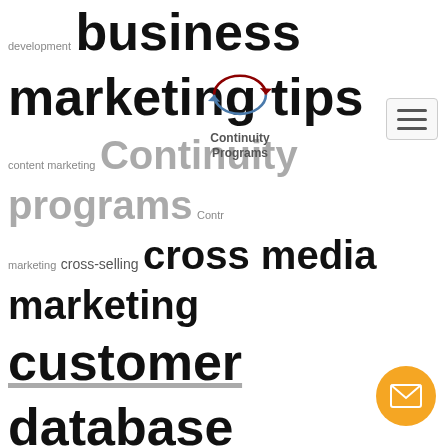[Figure (other): Tag cloud of marketing-related keywords in various sizes, a logo 'Continuity Programs' with circular arrow icon, a hamburger menu button, and a circular orange email button]